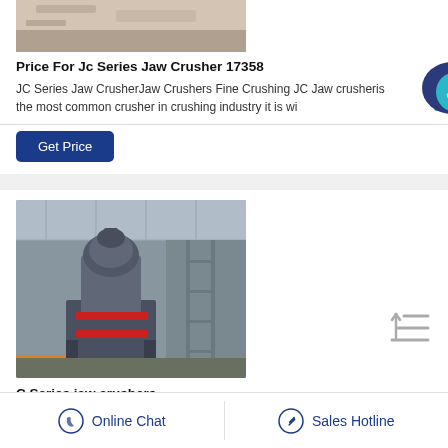[Figure (photo): Top portion of a crusher machine in an industrial setting — partially visible at top of page]
Price For Jc Series Jaw Crusher 17358
JC Series Jaw CrusherJaw Crushers Fine Crushing JC Jaw crusheris the most common crusher in crushing industry it is wi
[Figure (photo): C Series jaw crusher machine in a large industrial warehouse/factory setting]
C Series jaw crushers
C Series jaw crushers are engineered for the toughest feed
Online Chat
Sales Hotline